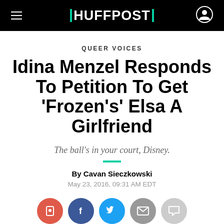HUFFPOST
QUEER VOICES
Idina Menzel Responds To Petition To Get 'Frozen's' Elsa A Girlfriend
The ball's in your court, Disney.
By Cavan Sieczkowski
May 23, 2016, 09:31 AM EDT